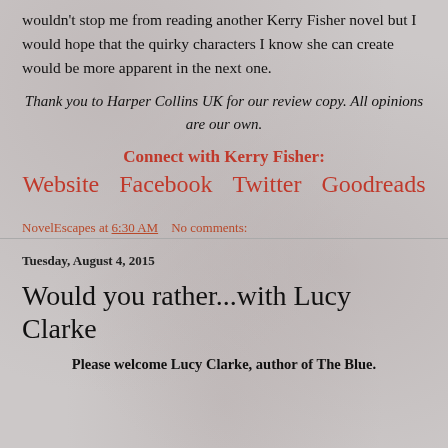wouldn't stop me from reading another Kerry Fisher novel but I would hope that the quirky characters I know she can create would be more apparent in the next one.
Thank you to Harper Collins UK for our review copy. All opinions are our own.
Connect with Kerry Fisher:
Website   Facebook   Twitter   Goodreads
NovelEscapes at 6:30 AM   No comments:
Tuesday, August 4, 2015
Would you rather...with Lucy Clarke
Please welcome Lucy Clarke, author of The Blue.